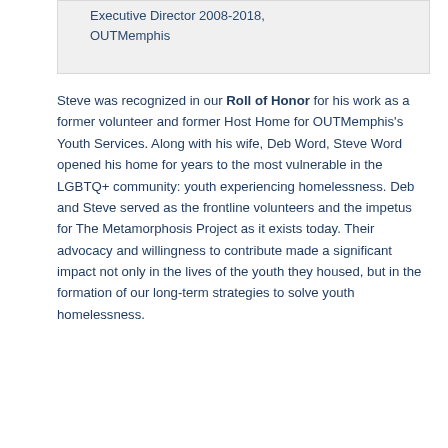Executive Director 2008-2018, OUTMemphis
Steve was recognized in our Roll of Honor for his work as a former volunteer and former Host Home for OUTMemphis's Youth Services. Along with his wife, Deb Word, Steve Word opened his home for years to the most vulnerable in the LGBTQ+ community: youth experiencing homelessness. Deb and Steve served as the frontline volunteers and the impetus for The Metamorphosis Project as it exists today. Their advocacy and willingness to contribute made a significant impact not only in the lives of the youth they housed, but in the formation of our long-term strategies to solve youth homelessness.